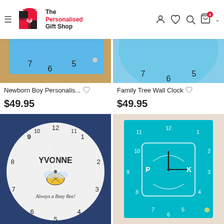[Figure (screenshot): Website header for The Personalised Gift Shop with hamburger menu, logo, and navigation icons (user, wishlist, search, cart with 0 badge, dropdown)]
[Figure (photo): Partial top view of Newborn Boy Personalised clock product - blue clock face visible]
[Figure (photo): Partial top view of Family Tree Wall Clock - light blue round clock face visible]
Newborn Boy Personalis...
$49.95
Family Tree Wall Clock
$49.95
[Figure (photo): White round clock on dark blue background with bee illustration, text YVONNE and Always a Busy Bee!, clock numbers 1-12]
[Figure (photo): Teal/turquoise square personalised clock with initials P and K, white decorative frame design, clock numbers 1-12]